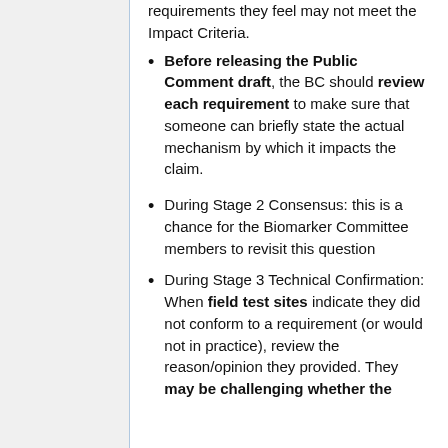requirements they feel may not meet the Impact Criteria.
Before releasing the Public Comment draft, the BC should review each requirement to make sure that someone can briefly state the actual mechanism by which it impacts the claim.
During Stage 2 Consensus: this is a chance for the Biomarker Committee members to revisit this question
During Stage 3 Technical Confirmation: When field test sites indicate they did not conform to a requirement (or would not in practice), review the reason/opinion they provided. They may be challenging whether the